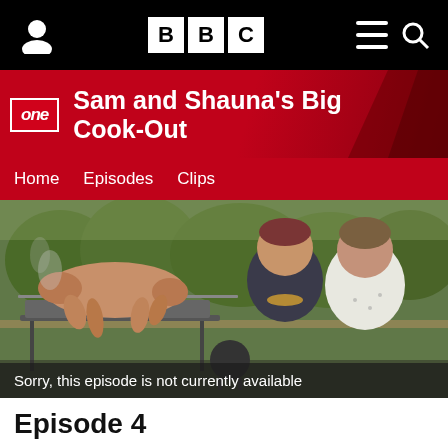BBC
Sam and Shauna's Big Cook-Out
Home  Episodes  Clips
[Figure (photo): Two women smiling outdoors near a BBQ spit roast with a whole animal cooking on it, set against a green countryside background]
Sorry, this episode is not currently available
Episode 4